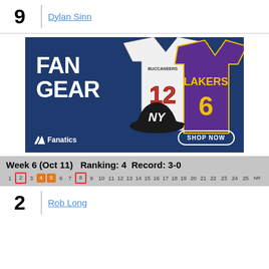9  Dylan Sinn
[Figure (photo): Fanatics fan gear advertisement showing NFL jersey #12, Lakers jersey #6, and Yankees cap on a dark blue background with FAN GEAR text and SHOP NOW button]
Week 6 (Oct 11)   Ranking: 4   Record: 3-0
1  2  3  4  5  6  7  8  9  10  11  12  13  14  15  16  17  18  19  20  21  22  23  24  25  NR
2  Rob Long